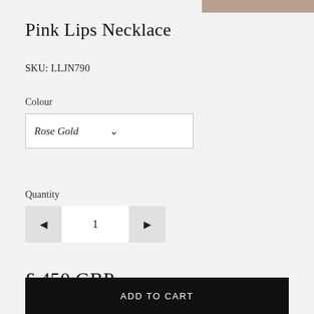[Figure (photo): Partial product thumbnail image in upper right corner]
Pink Lips Necklace
SKU: LLJN790
Colour
Rose Gold
Quantity
1
£ 450 GBP
ADD TO CART